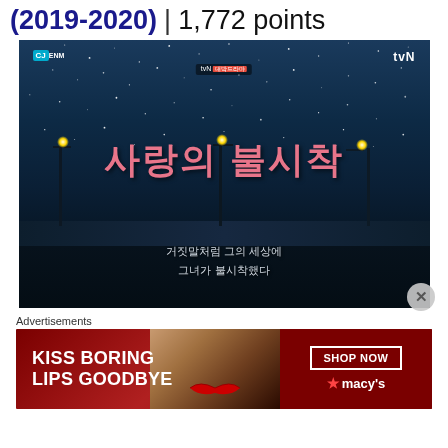(2019-2020) | 1,772 points
[Figure (photo): Promotional poster/title card for Korean drama '사랑의 불시착' (Crash Landing on You) on tvN. Night sky with stars, pink Korean calligraphic title text, silhouettes of structures, and Korean subtitle text at bottom.]
Advertisements
[Figure (photo): Advertisement banner for Macy's with text 'KISS BORING LIPS GOODBYE' and 'SHOP NOW' button, featuring a woman's face with red lipstick on a dark red background.]